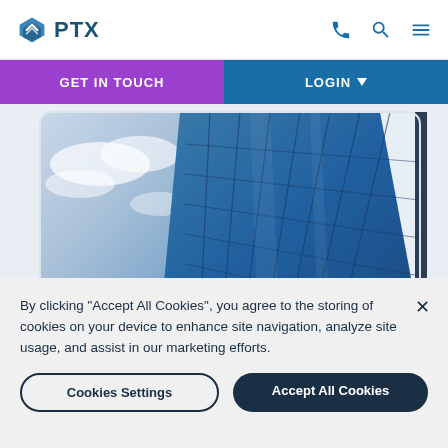PTX
[Figure (screenshot): Website navigation bar with GET IN TOUCH (purple) and LOGIN (blue with dropdown arrow) buttons]
[Figure (photo): Looking up at a glass and steel skyscraper building against blue sky with clouds]
By clicking “Accept All Cookies”, you agree to the storing of cookies on your device to enhance site navigation, analyze site usage, and assist in our marketing efforts.
Cookies Settings
Accept All Cookies